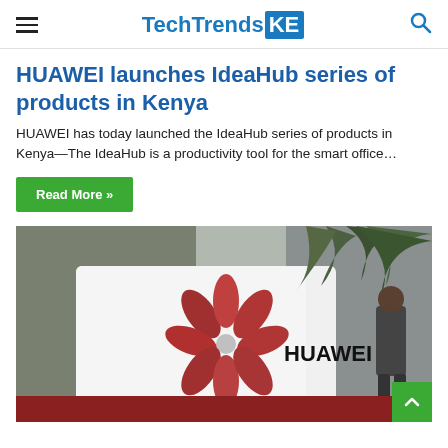TechTrendsKE
HUAWEI launches IdeaHub series of products in Kenya
HUAWEI has today launched the IdeaHub series of products in Kenya—The IdeaHub is a productivity tool for the smart office…
Read More »
[Figure (photo): Huawei logo on a white display stand at an event, with palm trees and a person in the background]